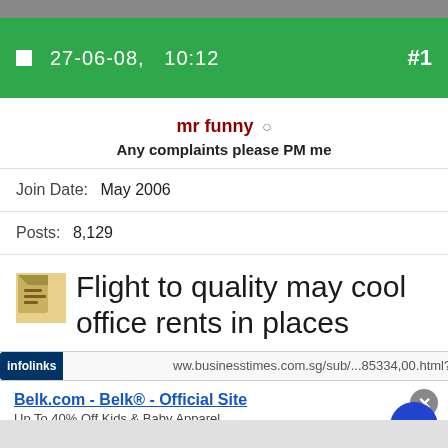27-06-08, 10:12  #1
mr funny ○
Any complaints please PM me
Join Date: May 2006
Posts: 8,129
Flight to quality may cool office rents in places
www.businesstimes.com.sg/sub/...85334,00.html?
Belk.com - Belk® - Official Site
Up To 40% Off Kids & Baby Apparel
www.belk.com